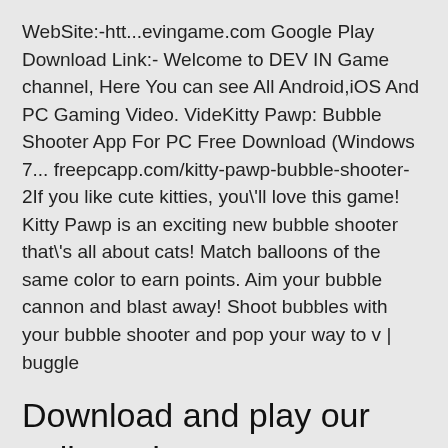WebSite:-htt...evingame.com Google Play Download Link:- Welcome to DEV IN Game channel, Here You can see All Android,iOS And PC Gaming Video. VideKitty Pawp: Bubble Shooter App For PC Free Download (Windows 7... freepcapp.com/kitty-pawp-bubble-shooter-2If you like cute kitties, you\'ll love this game! Kitty Pawp is an exciting new bubble shooter that\'s all about cats! Match balloons of the same color to earn points. Aim your bubble cannon and blast away! Shoot bubbles with your bubble shooter and pop your way to v | buggle
Download and play our online adventure games free on PC here! There is really nothing compared to a heart-stopping, mind-boggling action